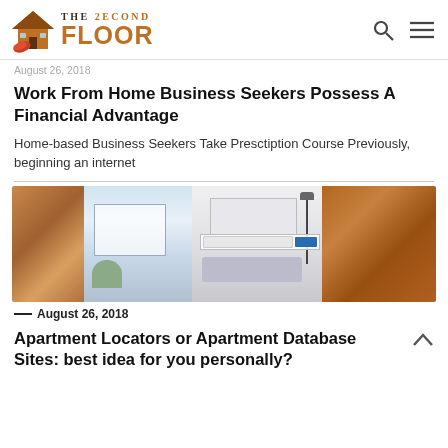The 2ECOND FLOOR — navigation header with search and menu icons
August 26, 2018
Work From Home Business Seekers Possess A Financial Advantage
Home-based Business Seekers Take Presctiption Course Previously, beginning an internet
[Figure (photo): Composite image showing apartment/home interior scenes including a living room, a real estate website search interface, a floor lamp, and a bookshelf]
— August 26, 2018
Apartment Locators or Apartment Database Sites: best idea for you personally?